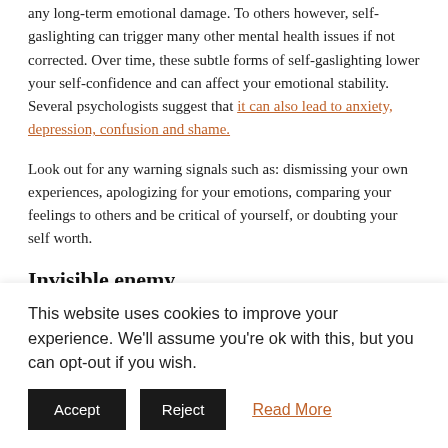any long-term emotional damage. To others however, self-gaslighting can trigger many other mental health issues if not corrected. Over time, these subtle forms of self-gaslighting lower your self-confidence and can affect your emotional stability. Several psychologists suggest that it can also lead to anxiety, depression, confusion and shame.
Look out for any warning signals such as: dismissing your own experiences, apologizing for your emotions, comparing your feelings to others and be critical of yourself, or doubting your self worth.
Invisible enemy
Don't worry if you just discovered that you yourself are guilty
This website uses cookies to improve your experience. We'll assume you're ok with this, but you can opt-out if you wish.